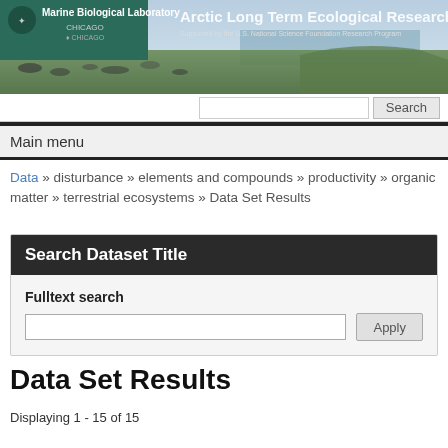[Figure (photo): Arctic tundra landscape banner with Marine Biological Laboratory / University of Chicago logo and 'Arctic Long Term Ecological Research' title text overlay]
Main menu
Data » disturbance » elements and compounds » productivity » organic matter » terrestrial ecosystems » Data Set Results
Search Dataset Title
Fulltext search
Data Set Results
Displaying 1 - 15 of 15